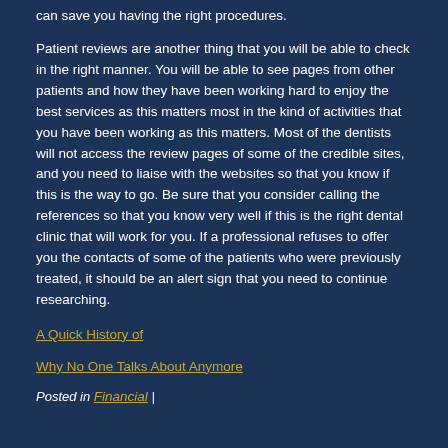can save you having the right procedures.
Patient reviews are another thing that you will be able to check in the right manner. You will be able to see pages from other patients and how they have been working hard to enjoy the best services as this matters most in the kind of activities that you have been working as this matters. Most of the dentists will not access the review pages of some of the credible sites, and you need to liaise with the websites so that you know if this is the way to go. Be sure that you consider calling the references so that you know very well if this is the right dental clinic that will work for you. If a professional refuses to offer you the contacts of some of the patients who were previously treated, it should be an alert sign that you need to continue researching.
A Quick History of
Why No One Talks About Anymore
Posted in Financial |